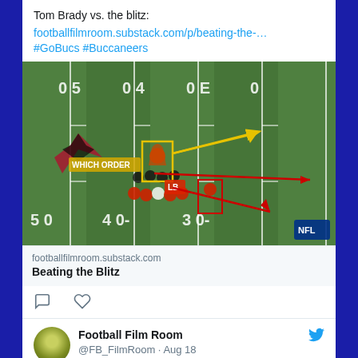Tom Brady vs. the blitz:
footballfilmroom.substack.com/p/beating-the-... #GoBucs #Buccaneers
[Figure (screenshot): Aerial view of football field showing play diagram with yellow and red arrow annotations, Atlanta Falcons logo visible, yard line markers 50, 40, 30 visible]
footballfilmroom.substack.com
Beating the Blitz
Football Film Room @FB_FilmRoom · Aug 18